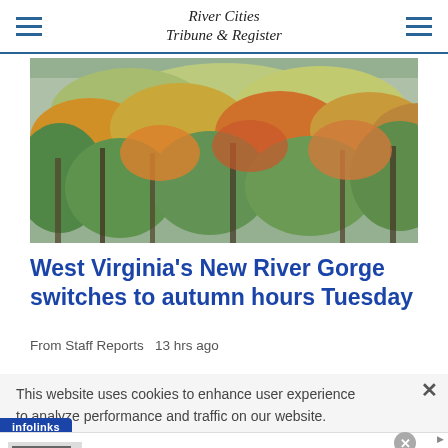River Cities Tribune & Register
[Figure (photo): Autumn forest with colorful orange, yellow, green foliage and misty gorge in the background]
West Virginia's New River Gorge switches to autumn hours Tuesday
From Staff Reports   13 hrs ago
This website uses cookies to enhance user experience to analyze performance and traffic on our website.
infolinks
Pet Food, Products, Supplies at Low Prices - Pay the lowest prices on pet supplies at Chewy.com chewy.com